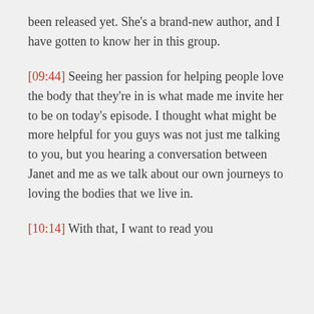been released yet. She's a brand-new author, and I have gotten to know her in this group.
[09:44] Seeing her passion for helping people love the body that they're in is what made me invite her to be on today's episode. I thought what might be more helpful for you guys was not just me talking to you, but you hearing a conversation between Janet and me as we talk about our own journeys to loving the bodies that we live in.
[10:14] With that, I want to read you